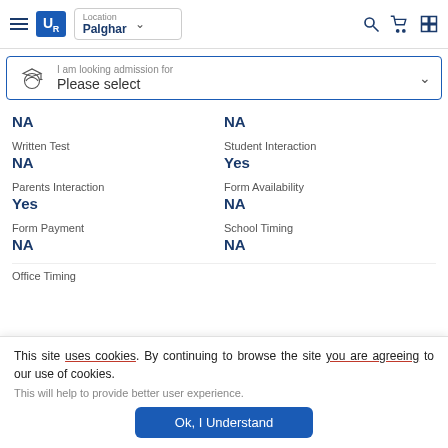UrbanPro – Location: Palghar
I am looking admission for – Please select
NA | NA
Written Test: NA | Student Interaction: Yes
Parents Interaction: Yes | Form Availability: NA
Form Payment: NA | School Timing: NA
Office Timing
This site uses cookies. By continuing to browse the site you are agreeing to our use of cookies.
This will help to provide better user experience.
Ok, I Understand